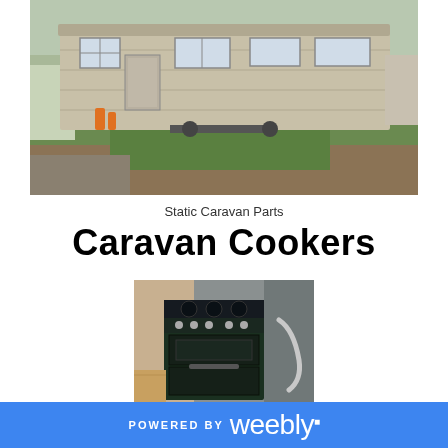[Figure (photo): Exterior photo of a static caravan/mobile home on grass, beige/cream colored with multiple windows, elevated on supports]
Static Caravan Parts
Caravan Cookers
[Figure (photo): Interior photo showing a dark green/black caravan cooker/oven with hob, positioned in a kitchen space]
POWERED BY weebly